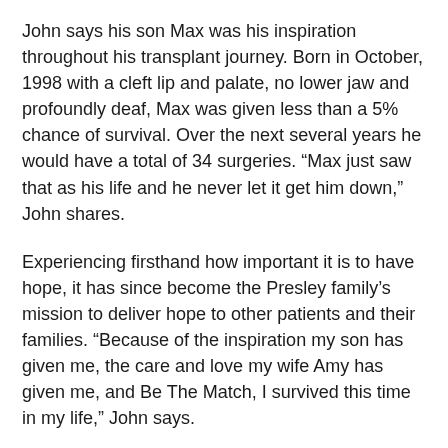John says his son Max was his inspiration throughout his transplant journey. Born in October, 1998 with a cleft lip and palate, no lower jaw and profoundly deaf, Max was given less than a 5% chance of survival. Over the next several years he would have a total of 34 surgeries. “Max just saw that as his life and he never let it get him down,” John shares.
Experiencing firsthand how important it is to have hope, it has since become the Presley family’s mission to deliver hope to other patients and their families. “Because of the inspiration my son has given me, the care and love my wife Amy has given me, and Be The Match, I survived this time in my life,” John says.
It’s been over four years since John received a successful marrow transplant. Now he and his family are dedicating their time and resources to help other patients receive the life-saving treatment they so desperately need. With a personal